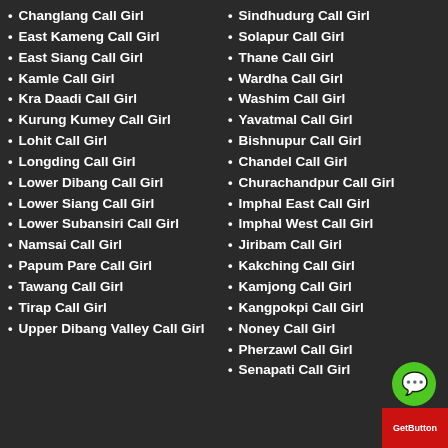Changlang Call Girl
East Kameng Call Girl
East Siang Call Girl
Kamle Call Girl
Kra Daadi Call Girl
Kurung Kumey Call Girl
Lohit Call Girl
Longding Call Girl
Lower Dibang Call Girl
Lower Siang Call Girl
Lower Subansiri Call Girl
Namsai Call Girl
Papum Pare Call Girl
Tawang Call Girl
Tirap Call Girl
Upper Dibang Valley Call Girl
Sindhudurg Call Girl
Solapur Call Girl
Thane Call Girl
Wardha Call Girl
Washim Call Girl
Yavatmal Call Girl
Bishnupur Call Girl
Chandel Call Girl
Churachandpur Call Girl
Imphal East Call Girl
Imphal West Call Girl
Jiribam Call Girl
Kakching Call Girl
Kamjong Call Girl
Kangpokpi Call Girl
Noney Call Girl
Pherzawl Call Girl
Senapati Call Girl